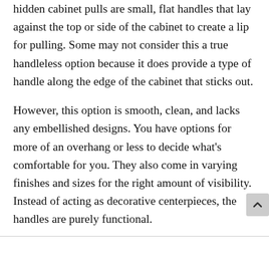hidden cabinet pulls are small, flat handles that lay against the top or side of the cabinet to create a lip for pulling. Some may not consider this a true handleless option because it does provide a type of handle along the edge of the cabinet that sticks out.
However, this option is smooth, clean, and lacks any embellished designs. You have options for more of an overhang or less to decide what's comfortable for you. They also come in varying finishes and sizes for the right amount of visibility. Instead of acting as decorative centerpieces, the handles are purely functional.